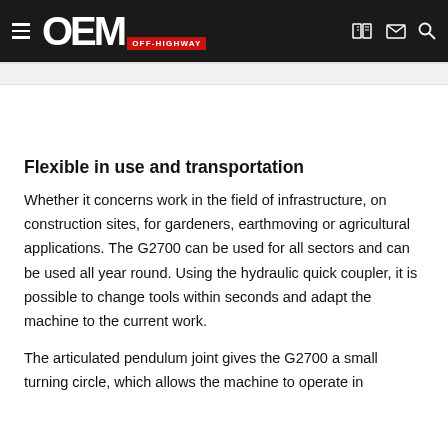OEM OFF-HIGHWAY
Flexible in use and transportation
Whether it concerns work in the field of infrastructure, on construction sites, for gardeners, earthmoving or agricultural applications. The G2700 can be used for all sectors and can be used all year round. Using the hydraulic quick coupler, it is possible to change tools within seconds and adapt the machine to the current work.
The articulated pendulum joint gives the G2700 a small turning circle, which allows the machine to operate in